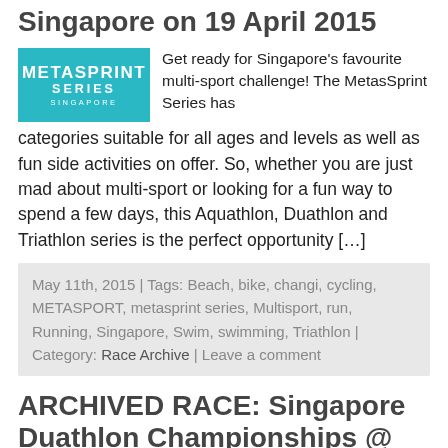Singapore on 19 April 2015
[Figure (logo): MetaSprint Series Singapore logo — teal/cyan background with white text]
Get ready for Singapore's favourite multi-sport challenge! The MetasSprint Series has categories suitable for all ages and levels as well as fun side activities on offer. So, whether you are just mad about multi-sport or looking for a fun way to spend a few days, this Aquathlon, Duathlon and Triathlon series is the perfect opportunity […]
May 11th, 2015 | Tags: Beach, bike, changi, cycling, METASPORT, metasprint series, Multisport, run, Running, Singapore, Swim, swimming, Triathlon | Category: Race Archive | Leave a comment
ARCHIVED RACE: Singapore Duathlon Championships @ Singapore on 22 November 2014